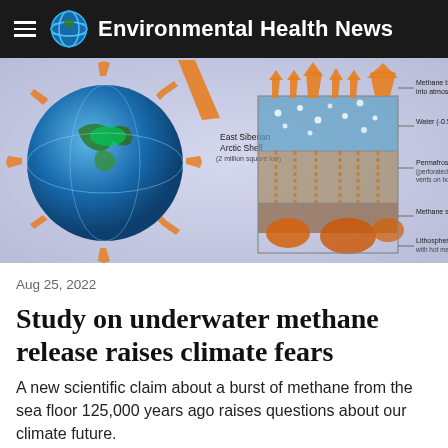Environmental Health News
[Figure (infographic): Scientific diagram showing methane release from the East Siberian Arctic Shelf sea floor. Left side shows a globe with the Arctic Shelf highlighted in green and orange arrows radiating outward. Right side shows a cross-section diagram of the sea floor with labels: Methane bursting into atmosphere, Water (0.5°C to -1.8°C), Permafrost (-0.5°C to 17°C) (perforated due to warm vents on both sides), Methane stores, Lithosphere with hot mantle. Orange arrows show methane rising through water column.]
Aug 25, 2022
Study on underwater methane release raises climate fears
A new scientific claim about a burst of methane from the sea floor 125,000 years ago raises questions about our climate future.